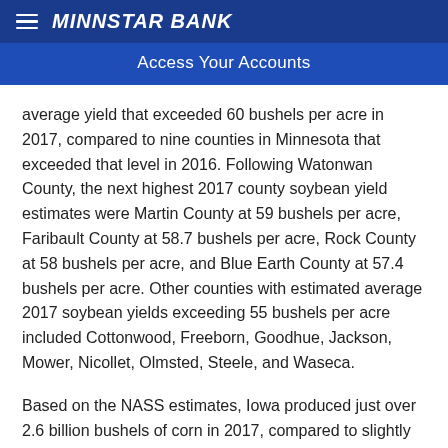MINNSTAR BANK
Access Your Accounts
average yield that exceeded 60 bushels per acre in 2017, compared to nine counties in Minnesota that exceeded that level in 2016. Following Watonwan County, the next highest 2017 county soybean yield estimates were Martin County at 59 bushels per acre, Faribault County at 58.7 bushels per acre, Rock County at 58 bushels per acre, and Blue Earth County at 57.4 bushels per acre. Other counties with estimated average 2017 soybean yields exceeding 55 bushels per acre included Cottonwood, Freeborn, Goodhue, Jackson, Mower, Nicollet, Olmsted, Steele, and Waseca.
Based on the NASS estimates, Iowa produced just over 2.6 billion bushels of corn in 2017, compared to slightly over 2.7 billion bushels in 2016, and 2.5 billion bushels in 2015.